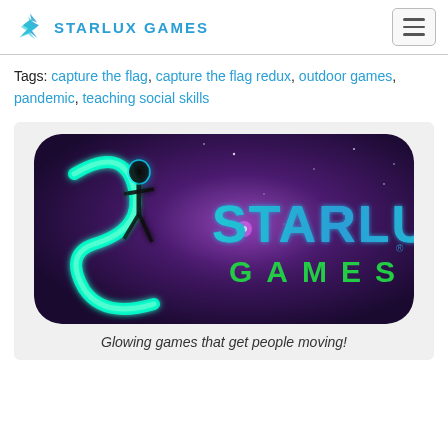STARLUX GAMES
Tags: capture the flag, capture the flag redux, outdoor games, pandemic, teaching social skills
[Figure (logo): Starlux Games logo — neon glowing figure with STARLUX GAMES text on a purple galaxy background. Tagline: Glowing games that get people moving!]